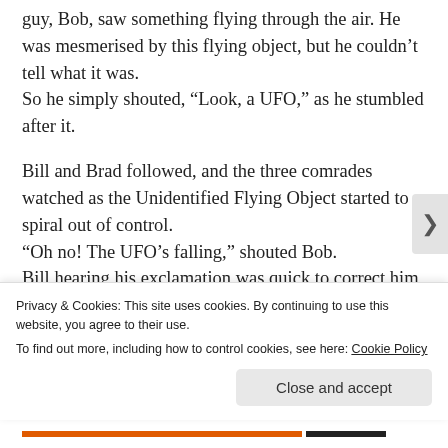guy, Bob, saw something flying through the air. He was mesmerised by this flying object, but he couldn't tell what it was. So he simply shouted, “Look, a UFO,” as he stumbled after it.

Bill and Brad followed, and the three comrades watched as the Unidentified Flying Object started to spiral out of control. “Oh no! The UFO’s falling,” shouted Bob. Bill hearing his exclamation was quick to correct him, “Don’t you mean U-F-O?” A confused Brad turned to Bill as Bob kept
Privacy & Cookies: This site uses cookies. By continuing to use this website, you agree to their use.
To find out more, including how to control cookies, see here: Cookie Policy